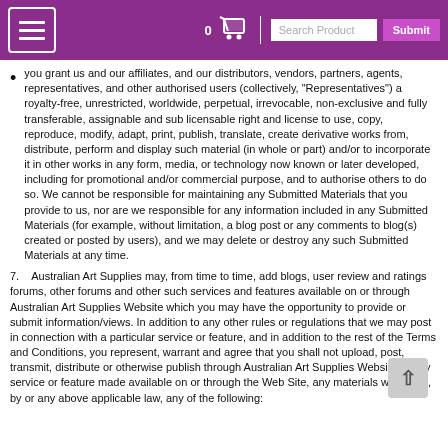Australian Art Supplies website header with navigation menu button, cart icon, search box, and submit button
you grant us and our affiliates, and our distributors, vendors, partners, agents, representatives, and other authorised users (collectively, “Representatives”) a royalty-free, unrestricted, worldwide, perpetual, irrevocable, non-exclusive and fully transferable, assignable and sub licensable right and license to use, copy, reproduce, modify, adapt, print, publish, translate, create derivative works from, distribute, perform and display such material (in whole or part) and/or to incorporate it in other works in any form, media, or technology now known or later developed, including for promotional and/or commercial purpose, and to authorise others to do so. We cannot be responsible for maintaining any Submitted Materials that you provide to us, nor are we responsible for any information included in any Submitted Materials (for example, without limitation, a blog post or any comments to blog(s) created or posted by users), and we may delete or destroy any such Submitted Materials at any time.
7.    Australian Art Supplies may, from time to time, add blogs, user review and ratings forums, other forums and other such services and features available on or through Australian Art Supplies Website which you may have the opportunity to provide or submit information/views. In addition to any other rules or regulations that we may post in connection with a particular service or feature, and in addition to the rest of the Terms and Conditions, you represent, warrant and agree that you shall not upload, post, transmit, distribute or otherwise publish through Australian Art Supplies Website or any service or feature made available on or through the Web Site, any materials which are, by or any above applicable law, any of the following: